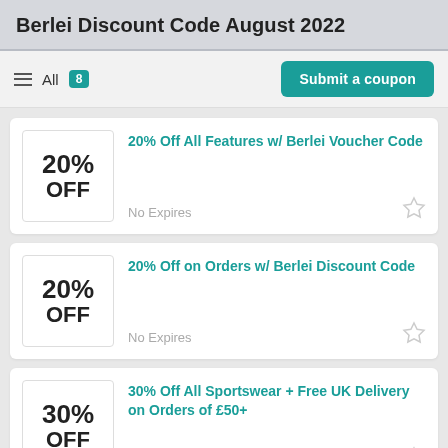Berlei Discount Code August 2022
All 8  Submit a coupon
20% Off All Features w/ Berlei Voucher Code
No Expires
20% Off on Orders w/ Berlei Discount Code
No Expires
30% Off All Sportswear + Free UK Delivery on Orders of £50+
No Expires